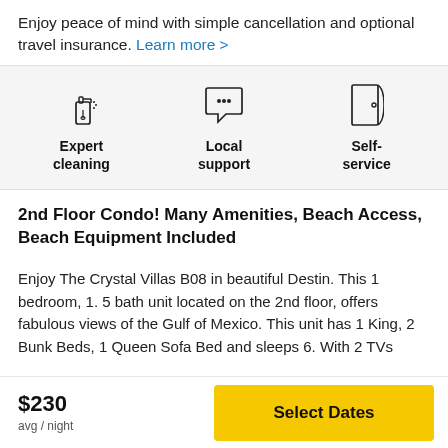Enjoy peace of mind with simple cancellation and optional travel insurance. Learn more >
[Figure (infographic): Three icons in a row on a light grey background: a spray bottle (Expert cleaning), a speech bubble with dots (Local support), and a door (Self-service), each with a bold label below.]
2nd Floor Condo! Many Amenities, Beach Access, Beach Equipment Included
Enjoy The Crystal Villas B08 in beautiful Destin. This 1 bedroom, 1. 5 bath unit located on the 2nd floor, offers fabulous views of the Gulf of Mexico. This unit has 1 King, 2 Bunk Beds, 1 Queen Sofa Bed and sleeps 6. With 2 TVs
$230
avg / night
Select Dates